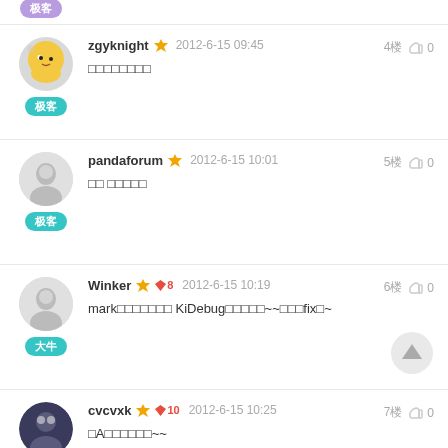zgyknight  2012-6-15 09:45  4楼  👍 0
□□□□□□□□
pandaforum  2012-6-15 10:01  5楼  👍 0
□□ □□□□□
Winker  ♦8  2012-6-15 10:19  6楼  👍 0
mark□□□□□□□ KiDebug□□□□□~~□□□fix□~
cvcvxk  ♦10  2012-6-15 10:25  7楼  👍 0
□A□□□□□□~~